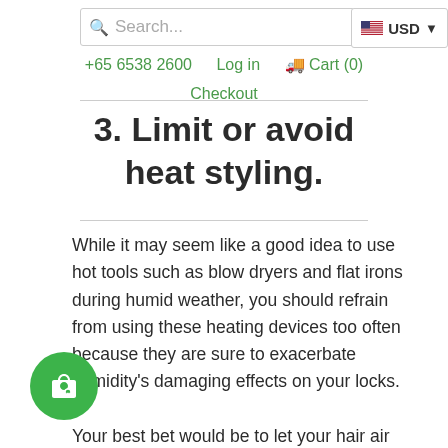Search...  USD  +65 6538 2600  Log in  Cart (0)  Checkout
3. Limit or avoid heat styling.
While it may seem like a good idea to use hot tools such as blow dryers and flat irons during humid weather, you should refrain from using these heating devices too often because they are sure to exacerbate humidity's damaging effects on your locks. Your best bet would be to let your hair air dry as much as possible when humidity is